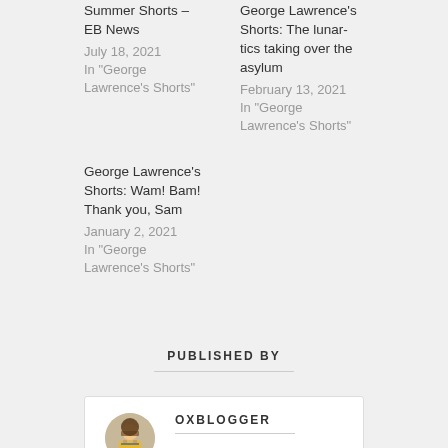Summer Shorts – EB News
July 18, 2021
In "George Lawrence's Shorts"
George Lawrence's Shorts: The lunar-tics taking over the asylum
February 13, 2021
In "George Lawrence's Shorts"
George Lawrence's Shorts: Wam! Bam! Thank you, Sam
January 2, 2021
In "George Lawrence's Shorts"
PUBLISHED BY
OXBLOGGER